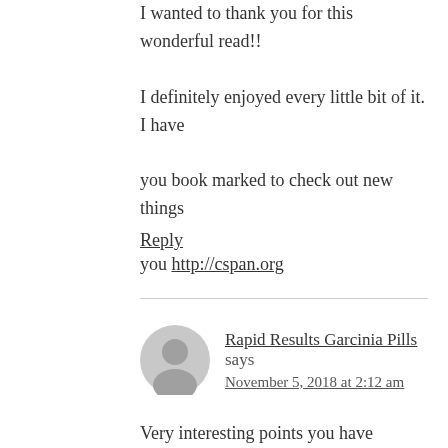I wanted to thank you for this wonderful read!! I definitely enjoyed every little bit of it. I have you book marked to check out new things you http://cspan.org
Reply
Rapid Results Garcinia Pills says
November 5, 2018 at 2:12 am
Very interesting points you have remarked, thanks for posting.